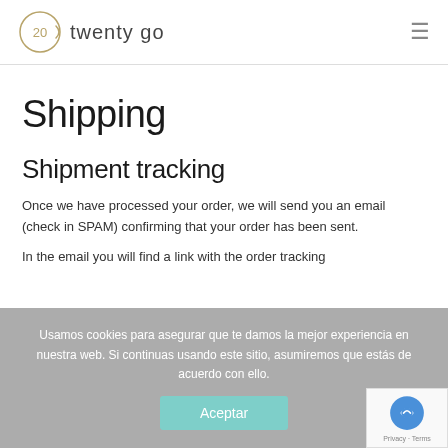twenty go
Shipping
Shipment tracking
Once we have processed your order, we will send you an email (check in SPAM) confirming that your order has been sent.
In the email you will find a link with the order tracking
Usamos cookies para asegurar que te damos la mejor experiencia en nuestra web. Si continuas usando este sitio, asumiremos que estás de acuerdo con ello.
Aceptar